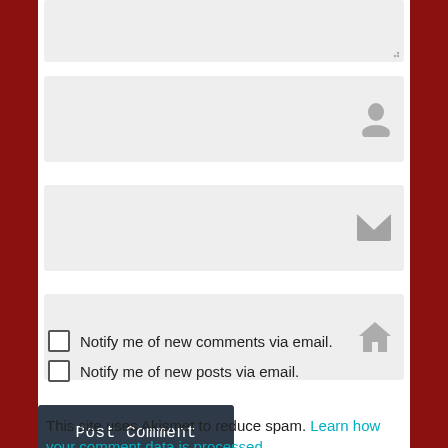[Figure (screenshot): Textarea input field (comment box) with resize handle, light gray background]
[Figure (screenshot): Text input field with person/user icon on the right, light gray background]
[Figure (screenshot): Text input field with envelope/email icon on the right, light gray background]
[Figure (screenshot): Text input field with house/home icon on the right, light gray background]
[Figure (screenshot): Post Comment button, dark navy background, white monospace text]
Notify me of new comments via email.
Notify me of new posts via email.
This site uses Akismet to reduce spam. Learn how your comment data is processed